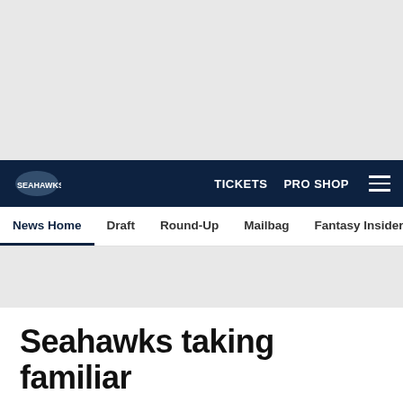[Figure (screenshot): Gray advertisement placeholder area at top of page]
TICKETS   PRO SHOP   [menu]
News Home   Draft   Round-Up   Mailbag   Fantasy Insider   Roste...
[Figure (screenshot): Gray content/image placeholder section]
Seahawks taking familiar
[Figure (infographic): Social share buttons: Facebook, Twitter, Email, Link]